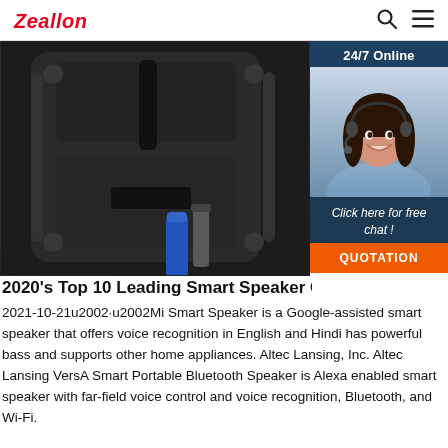Zeallon
[Figure (photo): Black portable speaker shown from back/side angle with blue cylindrical battery and gray handle visible]
[Figure (photo): 24/7 Online chat widget with smiling woman wearing headset, Click here for free chat button and QUOTATION orange button]
2020's Top 10 Leading Smart Speaker Comp
2021-10-21u2002·u2002Mi Smart Speaker is a Google-assisted smart speaker that offers voice recognition in English and Hindi has powerful bass and supports other home appliances. Altec Lansing, Inc. Altec Lansing VersA Smart Portable Bluetooth Speaker is Alexa enabled smart speaker with far-field voice control and voice recognition, Bluetooth, and Wi-Fi.